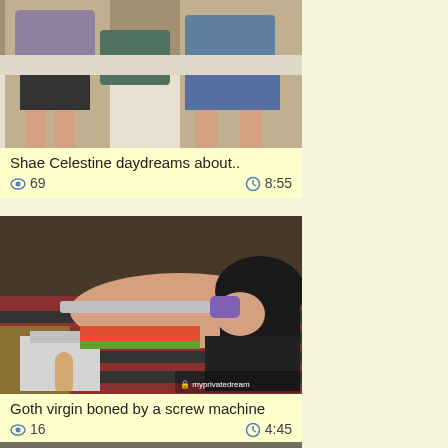[Figure (photo): Two people sitting on a couch]
Shae Celestine daydreams about..
👁 69   🕐 8:55
[Figure (photo): Woman with dark hair lying down with a machine device, myprivatedream watermark visible]
Goth virgin boned by a screw machine
👁 16   🕐 4:45
[Figure (photo): Partial thumbnail at bottom of page]